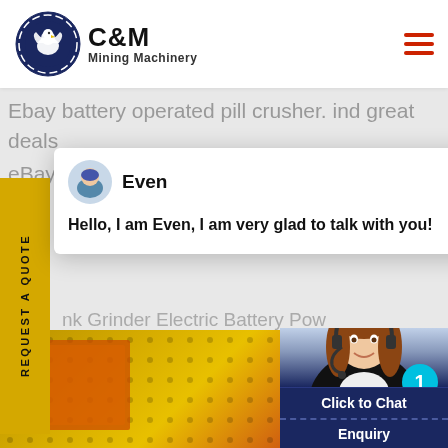[Figure (logo): C&M Mining Machinery logo with eagle in gear icon and company name]
Ebay battery operated pill crusher. ind great deals eBay for crushers Shop with confidence Skip to
[Figure (screenshot): Chat popup with agent named Even saying: Hello, I am Even, I am very glad to talk with you!]
nk Grinder Electric Battery Pow al Crusher Spice to powder Bro It Now Free postage
[Figure (photo): Customer service representative with headset, with Click to Chat button and Enquiry section]
Click to Chat
Enquiry